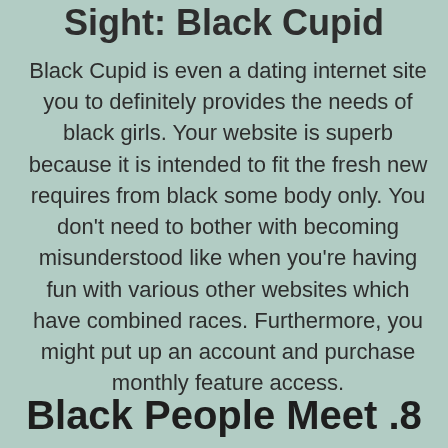Sight: Black Cupid
Black Cupid is even a dating internet site you to definitely provides the needs of black girls. Your website is superb because it is intended to fit the fresh new requires from black some body only. You don't need to bother with becoming misunderstood like when you're having fun with various other websites which have combined races. Furthermore, you might put up an account and purchase monthly feature access.
Black People Meet .8